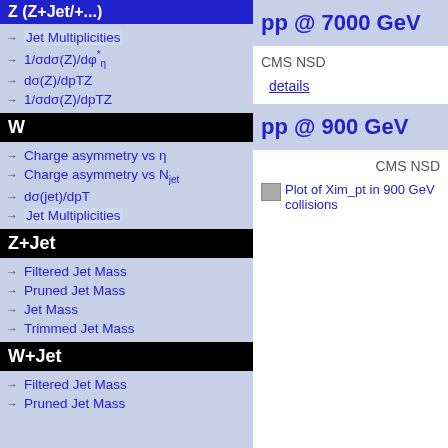Z (partially visible at top)
Jet Multiplicities
1/σdσ(Z)/dφ*η
dσ(Z)/dpTZ
1/σdσ(Z)/dpTZ
W
Charge asymmetry vs η
Charge asymmetry vs Njet
dσ(jet)/dpT
Jet Multiplicities
Z+Jet
Filtered Jet Mass
Pruned Jet Mass
Jet Mass
Trimmed Jet Mass
W+Jet
Filtered Jet Mass
Pruned Jet Mass
pp @ 7000 GeV
CMS NSD
details
pp @ 900 GeV
CMS NSD
Plot of Xim_pt in 900 GeV collisions